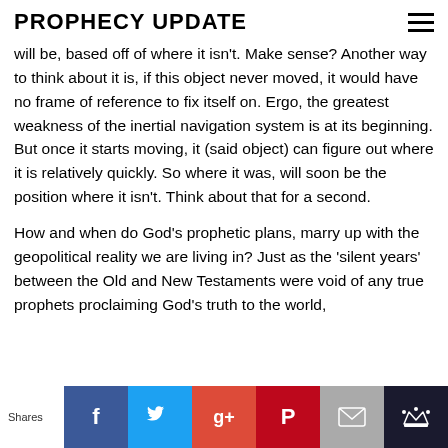PROPHECY UPDATE
will be, based off of where it isn't. Make sense? Another way to think about it is, if this object never moved, it would have no frame of reference to fix itself on. Ergo, the greatest weakness of the inertial navigation system is at its beginning. But once it starts moving, it (said object) can figure out where it is relatively quickly. So where it was, will soon be the position where it isn't. Think about that for a second.
How and when do God's prophetic plans, marry up with the geopolitical reality we are living in? Just as the 'silent years' between the Old and New Testaments were void of any true prophets proclaiming God's truth to the world,
Shares | Facebook | Twitter | Google+ | Pinterest | Email | Crown